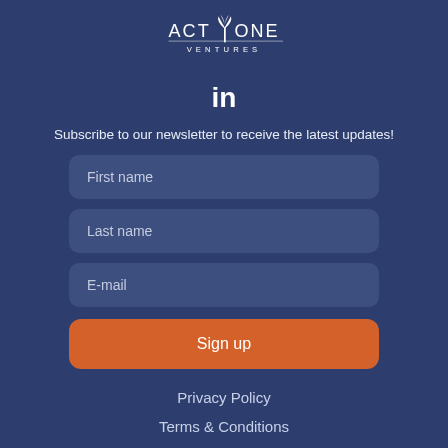[Figure (logo): Act One Ventures logo with palm tree icon and 'VENTURES' text below]
[Figure (logo): LinkedIn 'in' icon]
Subscribe to our newsletter to receive the latest updates!
First name
Last name
E-mail
Sign up
Privacy Policy
Terms & Conditions